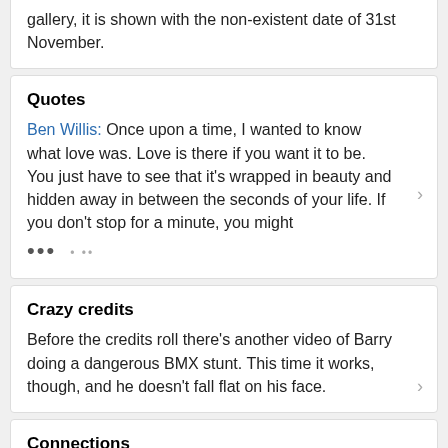gallery, it is shown with the non-existent date of 31st November.
Quotes
Ben Willis: Once upon a time, I wanted to know what love was. Love is there if you want it to be. You just have to see that it's wrapped in beauty and hidden away in between the seconds of your life. If you don't stop for a minute, you might
Crazy credits
Before the credits roll there's another video of Barry doing a dangerous BMX stunt. This time it works, though, and he doesn't fall flat on his face.
Connections